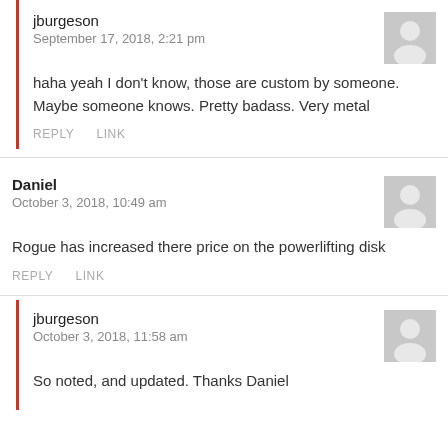jburgeson
September 17, 2018, 2:21 pm
haha yeah I don't know, those are custom by someone. Maybe someone knows. Pretty badass. Very metal
REPLY   LINK
Daniel
October 3, 2018, 10:49 am
Rogue has increased there price on the powerlifting disk
REPLY   LINK
jburgeson
October 3, 2018, 11:58 am
So noted, and updated. Thanks Daniel